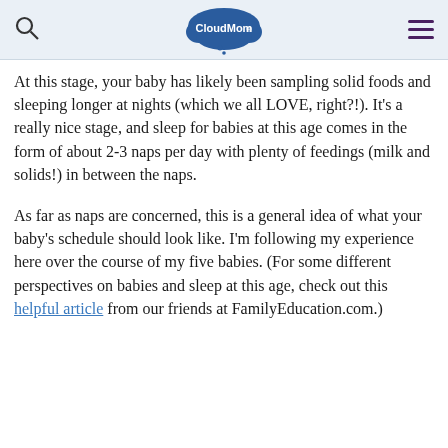CloudMom
At this stage, your baby has likely been sampling solid foods and sleeping longer at nights (which we all LOVE, right?!).  It's a really nice stage, and sleep for babies at this age comes in the form of about 2-3 naps per day with plenty of feedings (milk and solids!) in between the naps.
As far as naps are concerned, this is a general idea of what your baby's schedule should look like.  I'm following my experience here over the course of my five babies.  (For some different perspectives on babies and sleep at this age, check out this helpful article from our friends at FamilyEducation.com.)